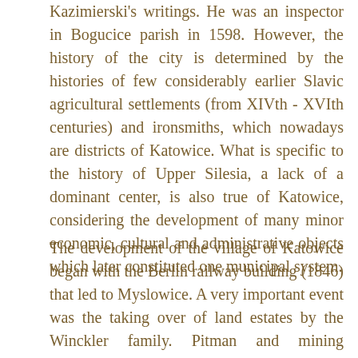Kazimierski's writings. He was an inspector in Bogucice parish in 1598. However, the history of the city is determined by the histories of few considerably earlier Slavic agricultural settlements (from XIVth - XVIth centuries) and ironsmiths, which nowadays are districts of Katowice. What is specific to the history of Upper Silesia, a lack of a dominant center, is also true of Katowice, considering the development of many minor economic, cultural and administrative objects which later constituted one municipal system.
The development of the village of Katowice began with the Berlin railway building (1846) that led to Myslowice. A very important event was the taking over of land estates by the Winckler family. Pitman and mining entrepreneur Franz Winckler converted surrounding villages into an industrial city.